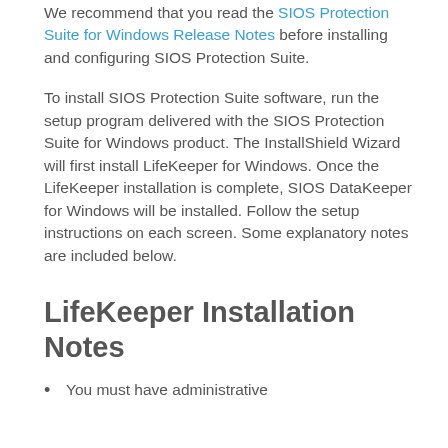We recommend that you read the SIOS Protection Suite for Windows Release Notes before installing and configuring SIOS Protection Suite.
To install SIOS Protection Suite software, run the setup program delivered with the SIOS Protection Suite for Windows product. The InstallShield Wizard will first install LifeKeeper for Windows. Once the LifeKeeper installation is complete, SIOS DataKeeper for Windows will be installed. Follow the setup instructions on each screen. Some explanatory notes are included below.
LifeKeeper Installation Notes
You must have administrative